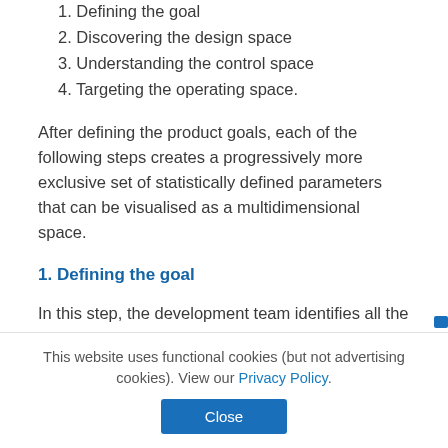1. Defining the goal
2. Discovering the design space
3. Understanding the control space
4. Targeting the operating space.
After defining the product goals, each of the following steps creates a progressively more exclusive set of statistically defined parameters that can be visualised as a multidimensional space.
1. Defining the goal
In this step, the development team identifies all the CQAs for an inhaled or nasal drug product. CQAs and
This website uses functional cookies (but not advertising cookies). View our Privacy Policy.